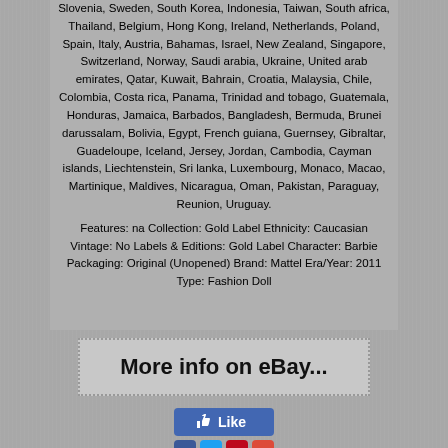Slovenia, Sweden, South Korea, Indonesia, Taiwan, South africa, Thailand, Belgium, Hong Kong, Ireland, Netherlands, Poland, Spain, Italy, Austria, Bahamas, Israel, New Zealand, Singapore, Switzerland, Norway, Saudi arabia, Ukraine, United arab emirates, Qatar, Kuwait, Bahrain, Croatia, Malaysia, Chile, Colombia, Costa rica, Panama, Trinidad and tobago, Guatemala, Honduras, Jamaica, Barbados, Bangladesh, Bermuda, Brunei darussalam, Bolivia, Egypt, French guiana, Guernsey, Gibraltar, Guadeloupe, Iceland, Jersey, Jordan, Cambodia, Cayman islands, Liechtenstein, Sri lanka, Luxembourg, Monaco, Macao, Martinique, Maldives, Nicaragua, Oman, Pakistan, Paraguay, Reunion, Uruguay.
Features: na Collection: Gold Label Ethnicity: Caucasian Vintage: No Labels & Editions: Gold Label Character: Barbie Packaging: Original (Unopened) Brand: Mattel Era/Year: 2011 Type: Fashion Doll
[Figure (screenshot): A clickable button with dotted border reading 'More info on eBay...' in bold black text on grey background]
[Figure (screenshot): A Facebook Like button in blue, and social media share icons for Facebook, Twitter, Pinterest, and Google+]